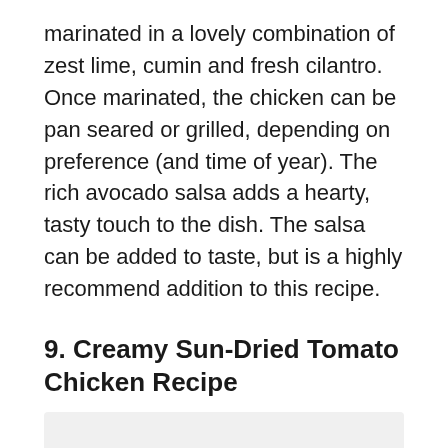marinated in a lovely combination of zest lime, cumin and fresh cilantro. Once marinated, the chicken can be pan seared or grilled, depending on preference (and time of year). The rich avocado salsa adds a hearty, tasty touch to the dish. The salsa can be added to taste, but is a highly recommend addition to this recipe.
9. Creamy Sun-Dried Tomato Chicken Recipe
[Figure (photo): Photo placeholder area, light gray background suggesting a food photo]